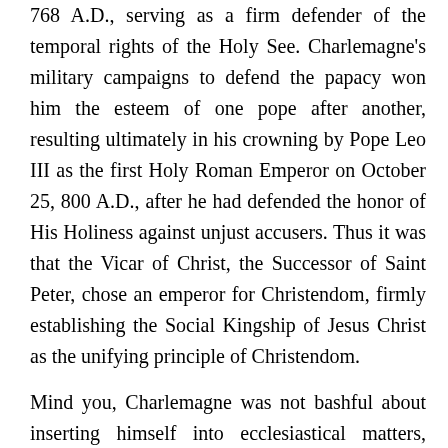768 A.D., serving as a firm defender of the temporal rights of the Holy See. Charlemagne's military campaigns to defend the papacy won him the esteem of one pope after another, resulting ultimately in his crowning by Pope Leo III as the first Holy Roman Emperor on October 25, 800 A.D., after he had defended the honor of His Holiness against unjust accusers. Thus it was that the Vicar of Christ, the Successor of Saint Peter, chose an emperor for Christendom, firmly establishing the Social Kingship of Jesus Christ as the unifying principle of Christendom.
Mind you, Charlemagne was not bashful about inserting himself into ecclesiastical matters, doing so not for personal gain or to seek the approval of bishops for a finer wardrobe.